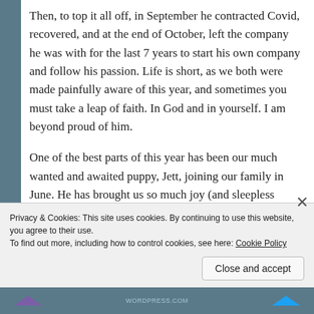Then, to top it all off, in September he contracted Covid, recovered, and at the end of October, left the company he was with for the last 7 years to start his own company and follow his passion. Life is short, as we both were made painfully aware of this year, and sometimes you must take a leap of faith. In God and in yourself. I am beyond proud of him.
One of the best parts of this year has been our much wanted and awaited puppy, Jett, joining our family in June. He has brought us so much joy (and sleepless nights while potty-training him!).
So, with all that, working permanently, and with the
Privacy & Cookies: This site uses cookies. By continuing to use this website, you agree to their use.
To find out more, including how to control cookies, see here: Cookie Policy
Close and accept